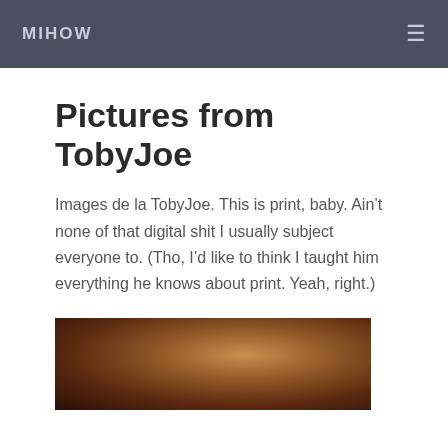MIHOW
Pictures from TobyJoe
Images de la TobyJoe. This is print, baby. Ain't none of that digital shit I usually subject everyone to. (Tho, I'd like to think I taught him everything he knows about print. Yeah, right.)
[Figure (photo): Partial view of a photo showing warm brown and amber tones, appears to be an animal (possibly a cat or dog) in dim lighting]